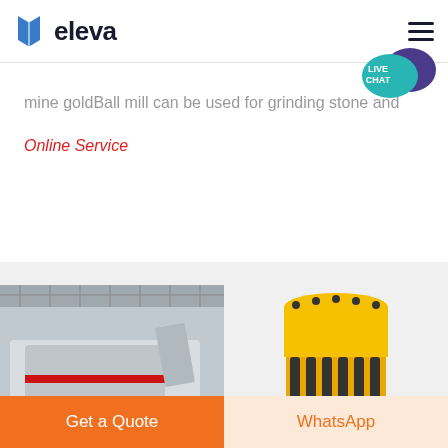[Figure (logo): Eleva logo with blue open book/bracket icon and bold dark text 'eleva']
mine goldBall mill can be used for grinding stone and
Online Service
[Figure (photo): Industrial crushing/mining equipment inside a large factory warehouse, white machinery on heavy vehicle platform]
[Figure (photo): Yellow cone crusher industrial machine with black spring assemblies and dark flywheel]
Get a Quote
WhatsApp